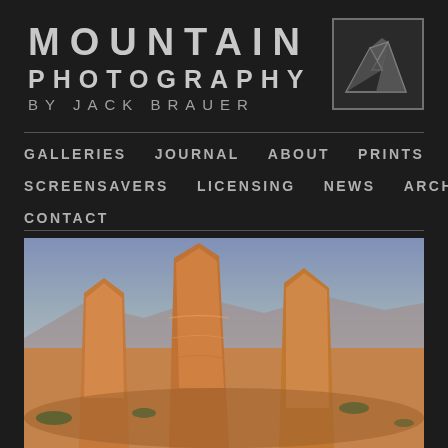MOUNTAIN PHOTOGRAPHY BY JACK BRAUER
[Figure (logo): Mountain peaks logo in a square border, grey tones on dark background]
GALLERIES   JOURNAL   ABOUT   PRINTS
SCREENSAVERS   LICENSING   NEWS   ARCHIVE
CONTACT
[Figure (photo): Landscape photograph of layered sandstone rock formations (hoodoos) in a desert canyon under a moody overcast sky, orange and rust-colored rocks with scattered desert shrubs]